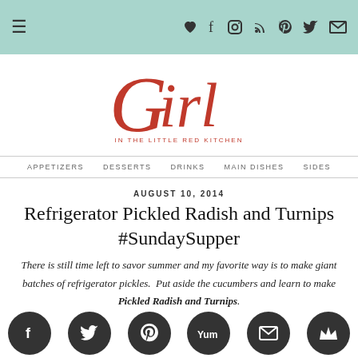Navigation bar with hamburger menu and social icons
[Figure (logo): Girl in the Little Red Kitchen script logo in red cursive]
APPETIZERS  DESSERTS  DRINKS  MAIN DISHES  SIDES
AUGUST 10, 2014
Refrigerator Pickled Radish and Turnips #SundaySupper
There is still time left to savor summer and my favorite way is to make giant batches of refrigerator pickles.  Put aside the cucumbers and learn to make Pickled Radish and Turnips.
[Figure (infographic): Social sharing bottom bar with Facebook, Twitter, Pinterest, Yummly, Email, Crown icons]